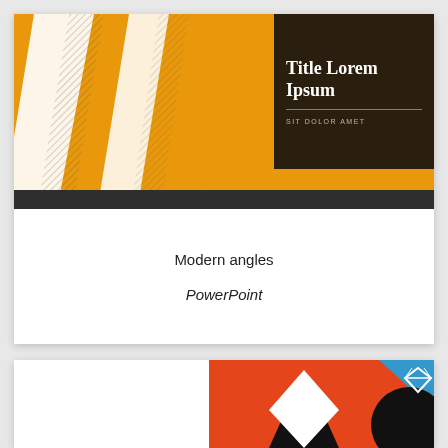[Figure (illustration): Presentation slide thumbnail showing a modern angles design with orange geometric shapes, diagonal lines, and a dark brown title box reading 'Title Lorem Ipsum / SIT DOLOR AMET'. Below the slide are the labels 'Modern angles' and 'PowerPoint' in italic.]
Modern angles
PowerPoint
[Figure (illustration): Partially visible second slide thumbnail showing orange, black, blue, and white geometric shapes with a white diamond/gem icon in the top-right corner.]